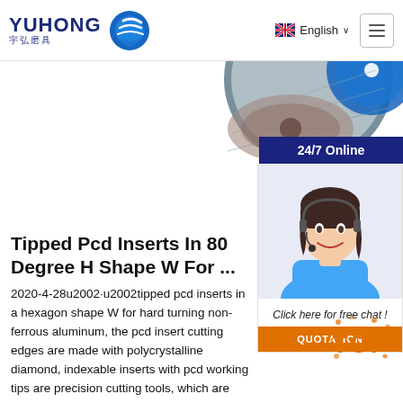YUHONG 宇弘磨具 | English
[Figure (photo): Grinding disc product image partially visible in upper right area]
[Figure (photo): 24/7 Online customer service representative wearing headset, smiling, with 'Click here for free chat!' text and QUOTATION button]
Tipped Pcd Inserts In 80 Degree H Shape W For ...
2020-4-28u2002·u2002tipped pcd inserts in a hexagon shape W for hard turning non-ferrous aluminum, the pcd insert cutting edges are made with polycrystalline diamond, indexable inserts with pcd working tips are precision cutting tools, which are used in cnc super fine finish machining, turning and milling automobile engine block, cylinder head, gearbox, cast aluminum alloy with ...
[Figure (infographic): TOP badge watermark in orange with decorative dots, bottom right corner]
Get Price